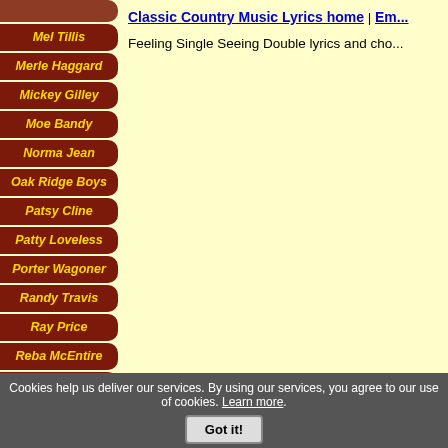Mel Tillis
Merle Haggard
Mickey Gilley
Moe Bandy
Norma Jean
Oak Ridge Boys
Patsy Cline
Patty Loveless
Porter Wagoner
Randy Travis
Ray Price
Reba McEntire
Red Steagall
Rhonda Vincent
Ricky Nelson
Classic Country Music Lyrics home | Em... Feeling Single Seeing Double lyrics and cho...